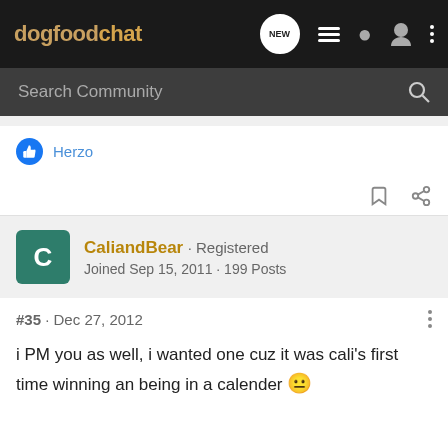dogfoodchat
Search Community
Herzo
CaliandBear · Registered
Joined Sep 15, 2011 · 199 Posts
#35 · Dec 27, 2012
i PM you as well, i wanted one cuz it was cali's first time winning an being in a calender 😕